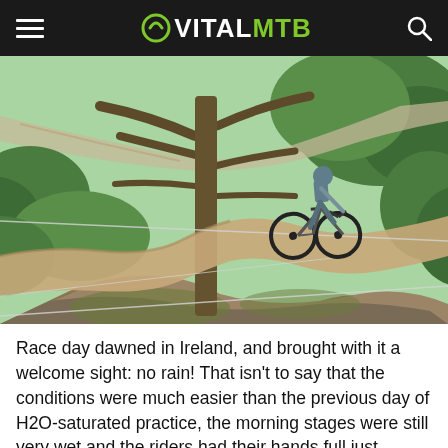VITALMTB
[Figure (photo): Aerial view of a mountain bike rider navigating a dirt trail on a rocky, tree-lined hillside in Ireland. The rider is on a full-suspension bike, leaning into a turn near a large mossy tree. The trail winds through green vegetation with a road visible in the background.]
Race day dawned in Ireland, and brought with it a welcome sight: no rain! That isn't to say that the conditions were much easier than the previous day of H2O-saturated practice, the morning stages were still very wet and the riders had their hands full just keeping it upright - but this is racing and the clock accepts no excuses. Adrien Dailly started the day out as he meant to go on, with a stage win over Sam Hill and Jerome Clementz. Local favorite and previous two-time winner here